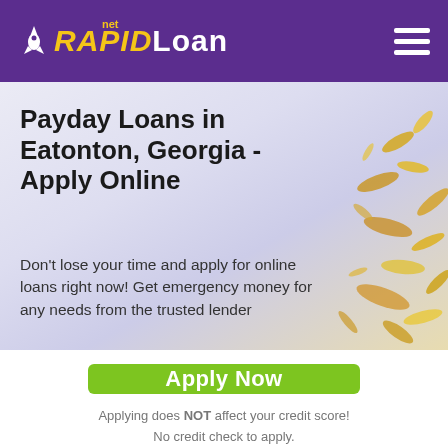RAPIDLoan.net
Payday Loans in Eatonton, Georgia - Apply Online
Don't lose your time and apply for online loans right now! Get emergency money for any needs from the trusted lender
[Figure (other): Green Apply Now button]
Applying does NOT affect your credit score! No credit check to apply.